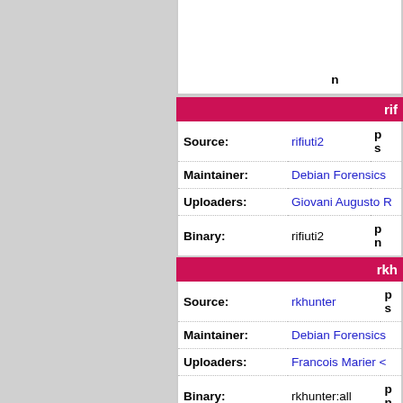| Field | Value | Extra |
| --- | --- | --- |
| Source: | rifiuti2 | p
s |
| Maintainer: | Debian Forensics |  |
| Uploaders: | Giovani Augusto R |  |
| Binary: | rifiuti2 | p
n |
| Field | Value | Extra |
| --- | --- | --- |
| Source: | rkhunter | p
s |
| Maintainer: | Debian Forensics |  |
| Uploaders: | Francois Marier < |  |
| Binary: | rkhunter:all | p
n |
| Field | Value | Extra |
| --- | --- | --- |
| Source: | rsakeyfind | p
s |